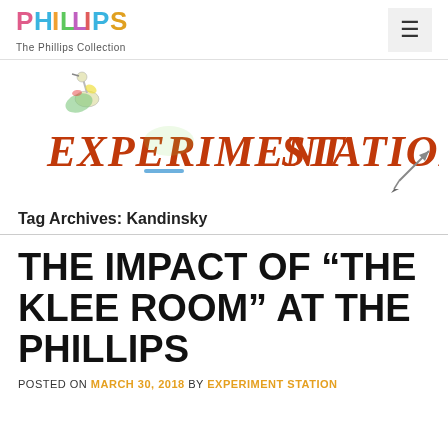PHILLIPS — The Phillips Collection
[Figure (illustration): Experiment Station hand-drawn colorful logo with bird illustration and arrow, text reads 'EXPERIMENT STATION']
Tag Archives: Kandinsky
THE IMPACT OF “THE KLEE ROOM” AT THE PHILLIPS
POSTED ON MARCH 30, 2018 BY EXPERIMENT STATION